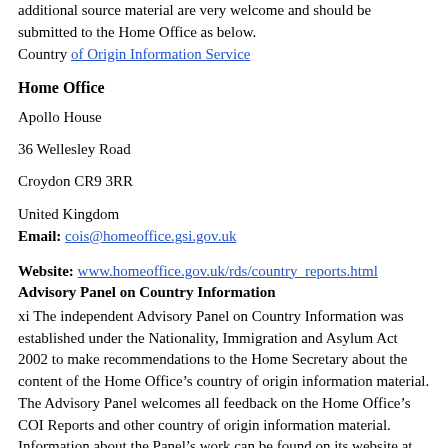additional source material are very welcome and should be submitted to the Home Office as below.
Country of Origin Information Service
Home Office
Apollo House
36 Wellesley Road
Croydon CR9 3RR
United Kingdom
Email: cois@homeoffice.gsi.gov.uk
Website: www.homeoffice.gov.uk/rds/country_reports.html
Advisory Panel on Country Information
xi The independent Advisory Panel on Country Information was established under the Nationality, Immigration and Asylum Act 2002 to make recommendations to the Home Secretary about the content of the Home Office’s country of origin information material. The Advisory Panel welcomes all feedback on the Home Office’s COI Reports and other country of origin information material. Information about the Panel’s work can be found on its website at www.apci.org.uk.
xii It is not the function of the Advisory Panel to endorse any